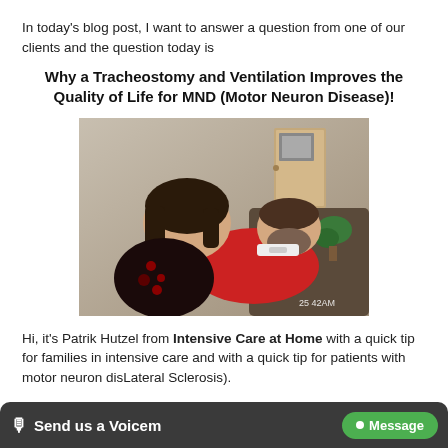In today's blog post, I want to answer a question from one of our clients and the question today is
Why a Tracheostomy and Ventilation Improves the Quality of Life for MND (Motor Neuron Disease)!
[Figure (photo): A woman leaning close to a man who is reclining, both appear to be in a home setting; the man is wearing a red top with a white tracheostomy collar visible; timestamp reads '25 42AM']
Hi, it's Patrik Hutzel from Intensive Care at Home with a quick tip for families in intensive care and with a quick tip for patients with motor neuron dis[ease (Amyotrophic Lateral Sclerosis).
Send us a Voicem • Message